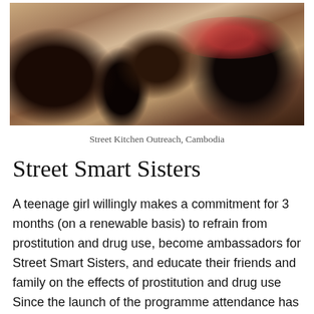[Figure (photo): Group of people gathered around food bowls, a street kitchen outreach scene in Cambodia]
Street Kitchen Outreach, Cambodia
Street Smart Sisters
A teenage girl willingly makes a commitment for 3 months (on a renewable basis) to refrain from prostitution and drug use, become ambassadors for Street Smart Sisters, and educate their friends and family on the effects of prostitution and drug use Since the launch of the programme attendance has increased by 80% where